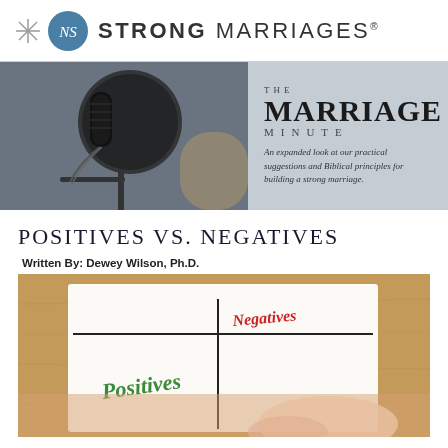STRONG MARRIAGES
[Figure (photo): Banner image showing a studio microphone with pop filter on the left, and The Marriage Minute title text with tagline on the right. Tagline reads: An expanded look at our practical suggestions and Biblical principles for building a strong marriage.]
POSITIVES VS. NEGATIVES
Written By: Dewey Wilson, Ph.D.
[Figure (photo): Close-up photo of a hand writing on paper with a T-chart labeled POSITIVES on the left in green handwriting and NEGATIVES on the right in red handwriting, on a wooden table background.]